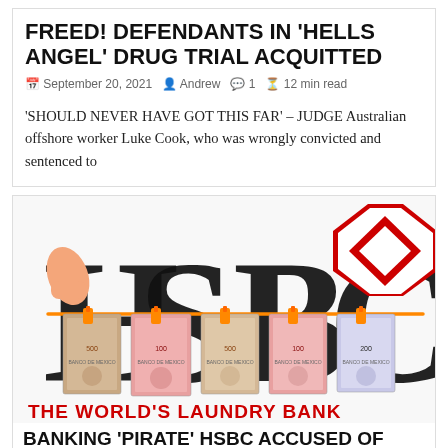FREED! DEFENDANTS IN 'HELLS ANGEL' DRUG TRIAL ACQUITTED
September 20, 2021  Andrew  1  12 min read
'SHOULD NEVER HAVE GOT THIS FAR' – JUDGE Australian offshore worker Luke Cook, who was wrongly convicted and sentenced to
[Figure (photo): HSBC logo with Mexican peso banknotes clipped to an orange washing line, with the text 'THE WORLD'S LAUNDRY BANK' at the bottom]
BANKING 'PIRATE' HSBC ACCUSED OF MONEY LAUNDERING FOR